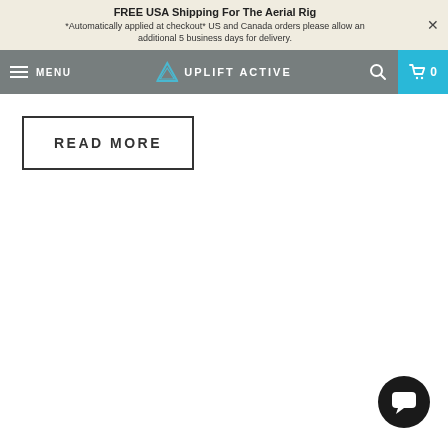FREE USA Shipping For The Aerial Rig
*Automatically applied at checkout* US and Canada orders please allow an additional 5 business days for delivery.
[Figure (screenshot): Navigation bar with hamburger menu, UPLIFT ACTIVE logo with triangle icon, search icon, and shopping cart icon with 0 items on cyan background]
READ MORE